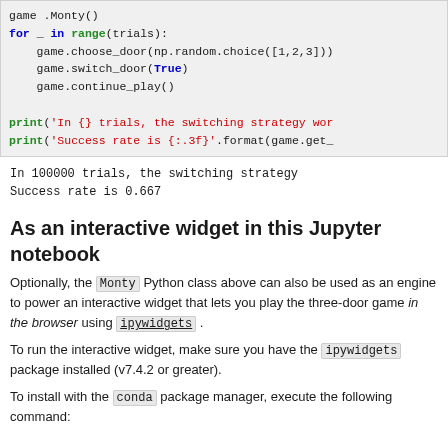game    .Monty()
for _ in range(trials):
    game.choose_door(np.random.choice([1,2,3]))
    game.switch_door(True)
    game.continue_play()

print('In {} trials, the switching strategy wor
print('Success rate is {:.3f}'.format(game.get_
In 100000 trials, the switching strategy
Success rate is 0.667
As an interactive widget in this Jupyter notebook
Optionally, the Monty Python class above can also be used as an engine to power an interactive widget that lets you play the three-door game in the browser using ipywidgets .
To run the interactive widget, make sure you have the ipywidgets package installed (v7.4.2 or greater).
To install with the conda package manager, execute the following command: